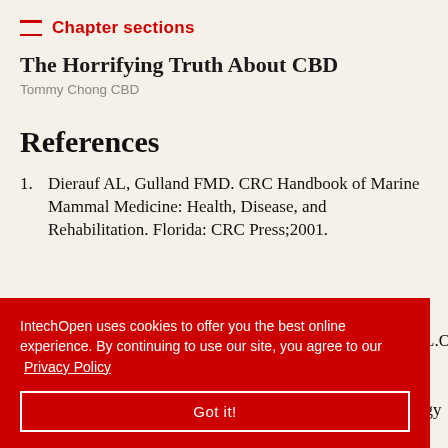Chapter sections
The Horrifying Truth About CBD
Tommy Chong CBD
References
Dierauf AL, Gulland FMD. CRC Handbook of Marine Mammal Medicine: Health, Disease, and Rehabilitation. Florida: CRC Press;2001.
A.MamaevL.Os... Mammals: Report... Microbiology
IntechOpen uses cookies to offer you the best online experience. By continuing to use our site, you agree to our Privacy Policy
Got it!